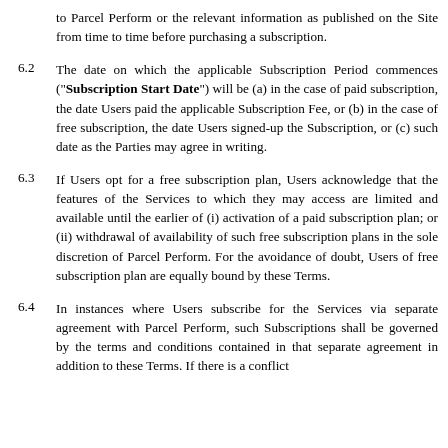to Parcel Perform or the relevant information as published on the Site from time to time before purchasing a subscription.
6.2 The date on which the applicable Subscription Period commences (“Subscription Start Date”) will be (a) in the case of paid subscription, the date Users paid the applicable Subscription Fee, or (b) in the case of free subscription, the date Users signed-up the Subscription, or (c) such date as the Parties may agree in writing.
6.3 If Users opt for a free subscription plan, Users acknowledge that the features of the Services to which they may access are limited and available until the earlier of (i) activation of a paid subscription plan; or (ii) withdrawal of availability of such free subscription plans in the sole discretion of Parcel Perform. For the avoidance of doubt, Users of free subscription plan are equally bound by these Terms.
6.4 In instances where Users subscribe for the Services via separate agreement with Parcel Perform, such Subscriptions shall be governed by the terms and conditions contained in that separate agreement in addition to these Terms. If there is a conflict